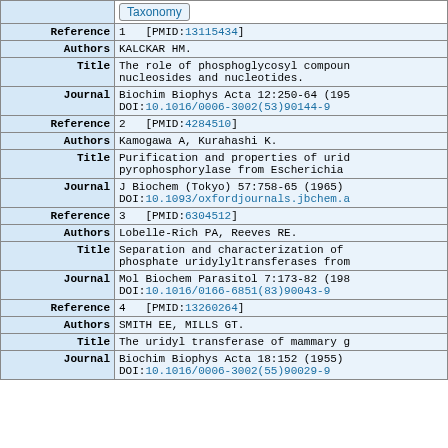|  |  |
| --- | --- |
|  | Taxonomy |
| Reference | 1   [PMID:13115434] |
| Authors | KALCKAR HM. |
| Title | The role of phosphoglycosyl compounds and nucleosides and nucleotides. |
| Journal | Biochim Biophys Acta 12:250-64 (1953)
DOI:10.1016/0006-3002(53)90144-9 |
| Reference | 2   [PMID:4284510] |
| Authors | Kamogawa A, Kurahashi K. |
| Title | Purification and properties of uridine pyrophosphorylase from Escherichia |
| Journal | J Biochem (Tokyo) 57:758-65 (1965)
DOI:10.1093/oxfordjournals.jbchem.a |
| Reference | 3   [PMID:6304512] |
| Authors | Lobelle-Rich PA, Reeves RE. |
| Title | Separation and characterization of phosphate uridylyltransferases from |
| Journal | Mol Biochem Parasitol 7:173-82 (1983)
DOI:10.1016/0166-6851(83)90043-9 |
| Reference | 4   [PMID:13260264] |
| Authors | SMITH EE, MILLS GT. |
| Title | The uridyl transferase of mammary gland |
| Journal | Biochim Biophys Acta 18:152 (1955)
DOI:10.1016/0006-3002(55)90029-9 |